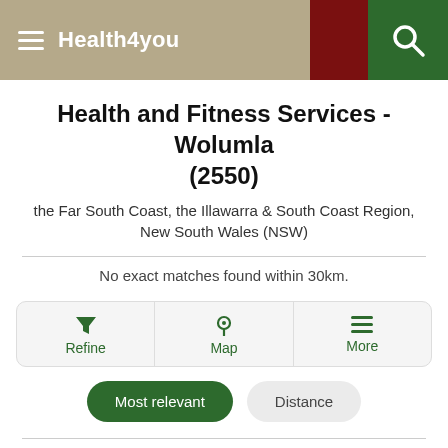Health4You
Health and Fitness Services - Wolumla (2550)
the Far South Coast, the Illawarra & South Coast Region, New South Wales (NSW)
No exact matches found within 30km.
Refine  Map  More
Most relevant   Distance
Other related businesses in and around Wolumla (within 50km)